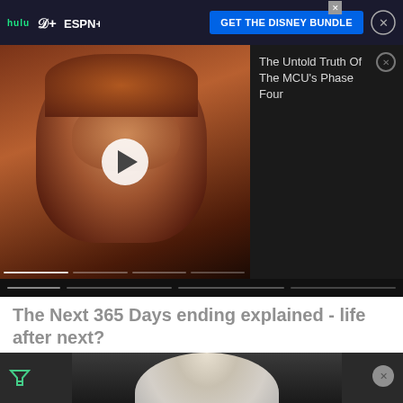[Figure (screenshot): Top advertisement banner for Disney Bundle with Hulu, Disney+, ESPN+ logos and blue GET THE DISNEY BUNDLE button on dark background]
[Figure (screenshot): Video player showing a man's face thumbnail with play button in center, video progress bar segments, and right-side recommendation panel showing 'The Untold Truth Of The MCU's Phase Four' on dark background]
The Next 365 Days ending explained - life after next?
Ready Steady Cut
[Figure (photo): Person wearing white hat in partially visible image, advertisement overlay area]
[Figure (screenshot): Victoria's Secret advertisement banner showing model, VS logo, 'SHOP THE COLLECTION' text, and 'SHOP NOW' button on pink background]